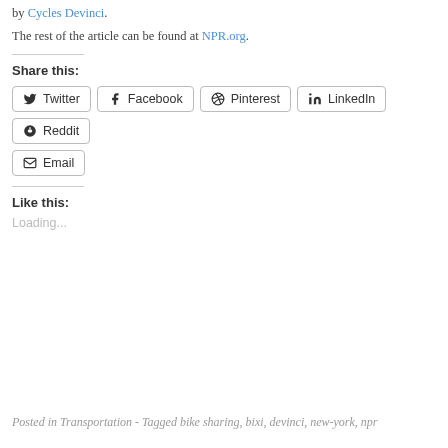by Cycles Devinci.
The rest of the article can be found at NPR.org.
Share this:
Twitter Facebook Pinterest LinkedIn Reddit Email
Like this:
Loading...
Posted in Transportation - Tagged bike sharing, bixi, devinci, new-york, npr